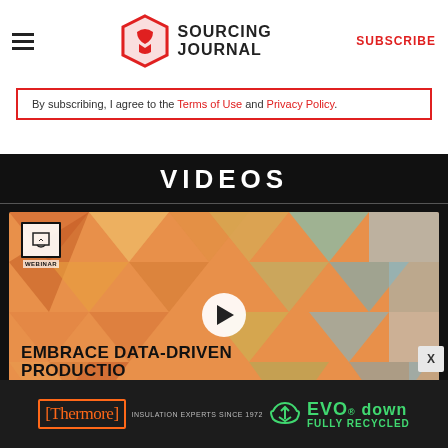Sourcing Journal — SUBSCRIBE
By subscribing, I agree to the Terms of Use and Privacy Policy.
VIDEOS
[Figure (screenshot): Webinar video thumbnail: 'EMBRACE DATA-DRIVEN PRODUCTION — SELL THE RIGHT PRODUCT TO THE RIGHT CUSTOMER WITH AI' with a play button overlay on a geometric/colorful background]
[Figure (logo): Thermore INSULATION EXPERTS SINCE 1972 — EVO down FULLY RECYCLED advertisement banner]